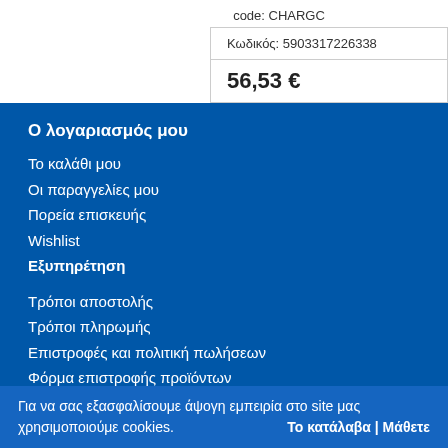code: CHARGC
| Κωδικός: 5903317226338 |
| 56,53 € |
Ο λογαριασμός μου
Το καλάθι μου
Οι παραγγελίες μου
Πορεία επισκευής
Wishlist
Εξυπηρέτηση
Τρόποι αποστολής
Τρόποι πληρωμής
Επιστροφές και πολιτική πωλήσεων
Φόρμα επιστροφής προϊόντων
Ιστορία
Για να σας εξασφαλίσουμε άψογη εμπειρία στο site μας χρησιμοποιούμε cookies. Το κατάλαβα | Μάθετε